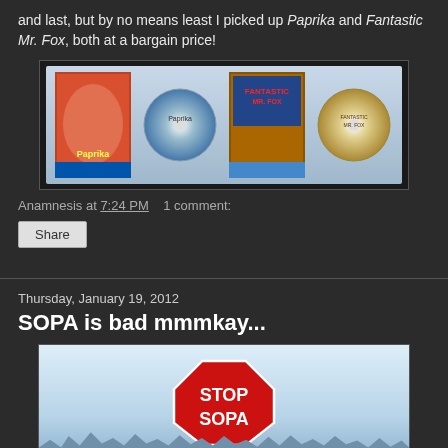and last, but by no means least I picked up Paprika and Fantastic Mr. Fox, both at a bargain price!
[Figure (photo): Photo of Paprika and Fantastic Mr. Fox Blu-ray/DVD cases and discs side by side]
Anamnesis at 7:24 PM    1 comment:
Share
Thursday, January 19, 2012
SOPA is bad mmmkay...
[Figure (photo): Stop SOPA banner image with red stop sign saying STOP SOPA and crowd silhouettes below]